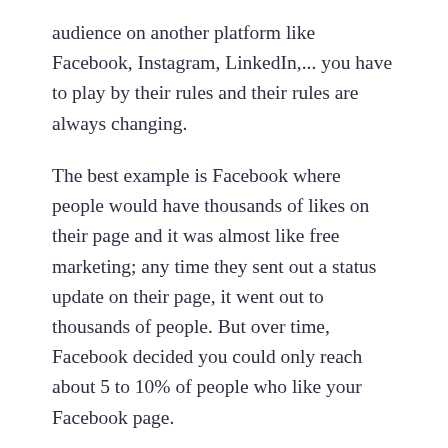audience on another platform like Facebook, Instagram, LinkedIn,... you have to play by their rules and their rules are always changing.
The best example is Facebook where people would have thousands of likes on their page and it was almost like free marketing; any time they sent out a status update on their page, it went out to thousands of people. But over time, Facebook decided you could only reach about 5 to 10% of people who like your Facebook page.
The downside is you have to pay to reach the rest of your potential customers. The bottom line is, it's Facebook's platform, it's their hosting, and it's their rules. That's why it's